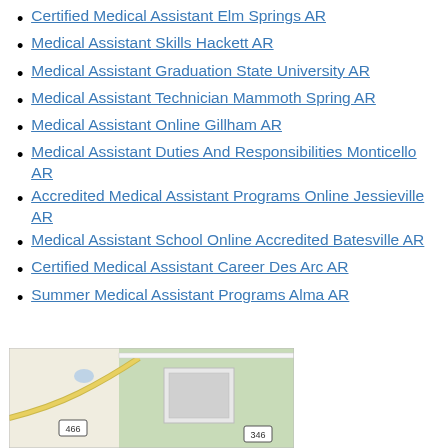Certified Medical Assistant Elm Springs AR
Medical Assistant Skills Hackett AR
Medical Assistant Graduation State University AR
Medical Assistant Technician Mammoth Spring AR
Medical Assistant Online Gillham AR
Medical Assistant Duties And Responsibilities Monticello AR
Accredited Medical Assistant Programs Online Jessieville AR
Medical Assistant School Online Accredited Batesville AR
Certified Medical Assistant Career Des Arc AR
Summer Medical Assistant Programs Alma AR
[Figure (map): Street map showing roads including routes 466 and 346, with green and beige areas representing landscape features and a building footprint.]